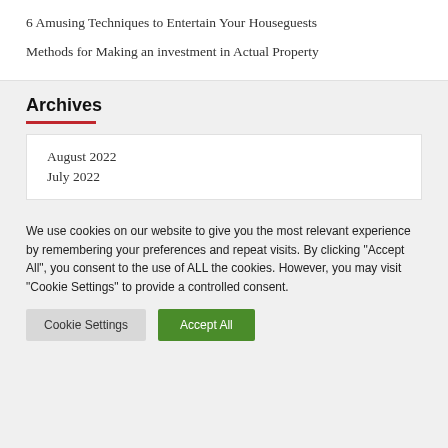6 Amusing Techniques to Entertain Your Houseguests
Methods for Making an investment in Actual Property
Archives
August 2022
July 2022
We use cookies on our website to give you the most relevant experience by remembering your preferences and repeat visits. By clicking “Accept All”, you consent to the use of ALL the cookies. However, you may visit "Cookie Settings" to provide a controlled consent.